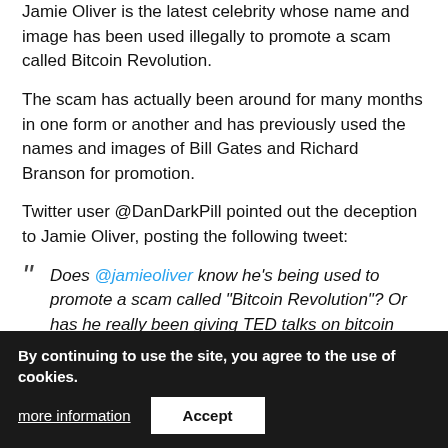Jamie Oliver is the latest celebrity whose name and image has been used illegally to promote a scam called Bitcoin Revolution.
The scam has actually been around for many months in one form or another and has previously used the names and images of Bill Gates and Richard Branson for promotion.
Twitter user @DanDarkPill pointed out the deception to Jamie Oliver, posting the following tweet:
“ Does @jamieoliver know he’s being used to promote a scam called “Bitcoin Revolution”? Or has he really been giving TED talks on bitcoin and closing his restaurants to buy more? This scam is using the bitcoin name & image to s[...]g his. pic[...]w.
— dark pill (@DanDarkPill) September 15, 2018
By continuing to use the site, you agree to the use of cookies.